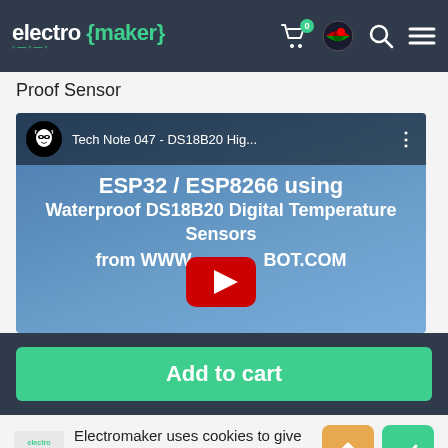electro {maker} — navigation bar with cart, flag, search, menu icons
Proof Sensor
[Figure (screenshot): YouTube video thumbnail showing 'Tech Note 047 - DS18B20 Hig...' with text: ESP32 / ESP8266 using Waterproof DS18B20 Digital Temperature Sensors from WWW.[...]BOT.COM, with YouTube play button overlay]
Add to cart
Electromaker uses cookies to give you the best experience.